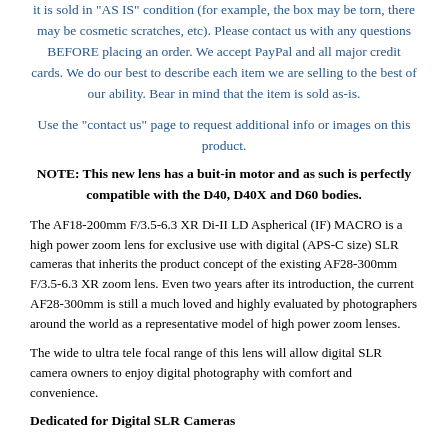it is sold in "AS IS" condition (for example, the box may be torn, there may be cosmetic scratches, etc). Please contact us with any questions BEFORE placing an order. We accept PayPal and all major credit cards. We do our best to describe each item we are selling to the best of our ability. Bear in mind that the item is sold as-is.
Use the "contact us" page to request additional info or images on this product.
NOTE: This new lens has a buit-in motor and as such is perfectly compatible with the D40, D40X and D60 bodies.
The AF18-200mm F/3.5-6.3 XR Di-II LD Aspherical (IF) MACRO is a high power zoom lens for exclusive use with digital (APS-C size) SLR cameras that inherits the product concept of the existing AF28-300mm F/3.5-6.3 XR zoom lens. Even two years after its introduction, the current AF28-300mm is still a much loved and highly evaluated by photographers around the world as a representative model of high power zoom lenses.
The wide to ultra tele focal range of this lens will allow digital SLR camera owners to enjoy digital photography with comfort and convenience.
Dedicated for Digital SLR Cameras